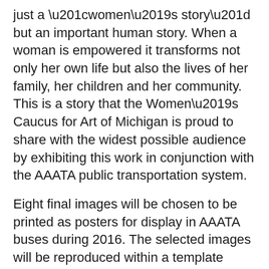just a “women’s story” but an important human story. When a woman is empowered it transforms not only her own life but also the lives of her family, her children and her community. This is a story that the Women’s Caucus for Art of Michigan is proud to share with the widest possible audience by exhibiting this work in conjunction with the AAATA public transportation system.
Eight final images will be chosen to be printed as posters for display in AAATA buses during 2016. The selected images will be reproduced within a template provided by WCAMI and printed. The image to be designed will be 14” x 9.5”. The final poster will be 17” x 11”. Each design should include the title, Women, Yes!, within the design.
READ GUIDELINES BELOW BEFORE YOU SUBMIT.
Guidelines for “Women, Yes!”